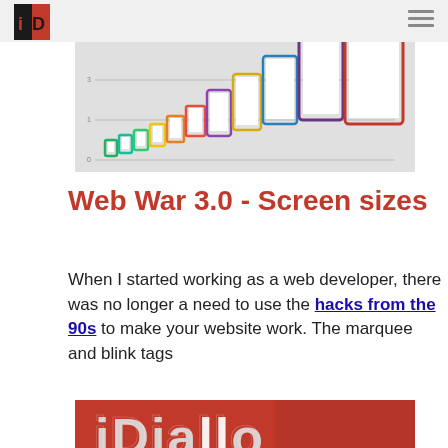iD logo and hamburger menu
[Figure (photo): A chart-style photo showing colorful device frames (phones and tablets) of varying sizes lined up smallest to largest, on a light grey background with horizontal lines suggesting a chart axis.]
Web War 3.0 - Screen sizes
When I started working as a web developer, there was no longer a need to use the hacks from the 90s to make your website work. The marquee and blink tags
[Figure (photo): A red background with raised 3D metallic letters reading 'iDiallo' (partial, cropped at bottom of page).]